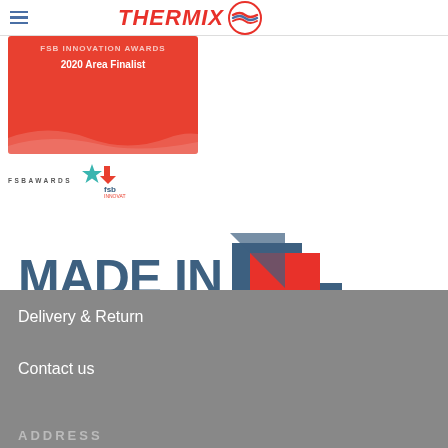[Figure (logo): Thermix company logo with red italic text and circular icon with wave lines]
[Figure (logo): FSB Innovation Awards 2020 Area Finalist red award badge with FSB logo]
[Figure (logo): Made in Britain logo with bold blue text and Union Jack arrow icon]
Delivery & Return
Contact us
ADDRESS